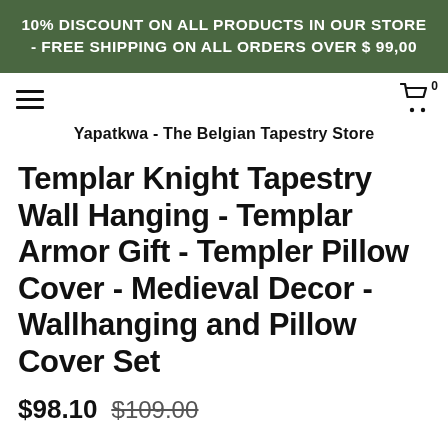10% DISCOUNT ON ALL PRODUCTS IN OUR STORE - FREE SHIPPING ON ALL ORDERS OVER $ 99,00
Yapatkwa - The Belgian Tapestry Store
Templar Knight Tapestry Wall Hanging - Templar Armor Gift - Templer Pillow Cover - Medieval Decor - Wallhanging and Pillow Cover Set
$98.10 $109.00